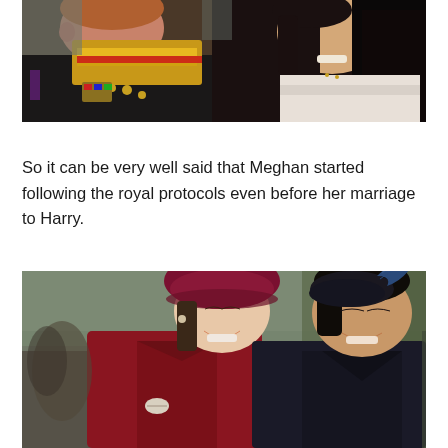[Figure (photo): Photo of Prince Harry in military uniform with gold epaulettes and red stripe, and Meghan Markle in white off-shoulder outfit, both smiling]
So it can be very well said that Meghan started following the royal protocols even before her marriage to Harry.
[Figure (photo): Photo of Kate Middleton in red coat and burgundy beret hat laughing, and Meghan Markle in black coat and black fascinator hat, both smiling, walking outdoors with crowd in background]